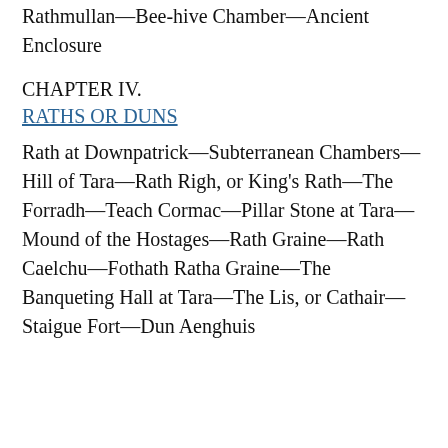Sepulchral Chambers—Stone Basim—Mound of Rathmullan—Bee-hive Chamber—Ancient Enclosure
CHAPTER IV.
RATHS OR DUNS
Rath at Downpatrick—Subterranean Chambers—Hill of Tara—Rath Righ, or King's Rath—The Forradh—Teach Cormac—Pillar Stone at Tara—Mound of the Hostages—Rath Graine—Rath Caelchu—Fothath Ratha Graine—The Banqueting Hall at Tara—The Lis, or Cathair—Staigue Fort—Dun Aenghuis